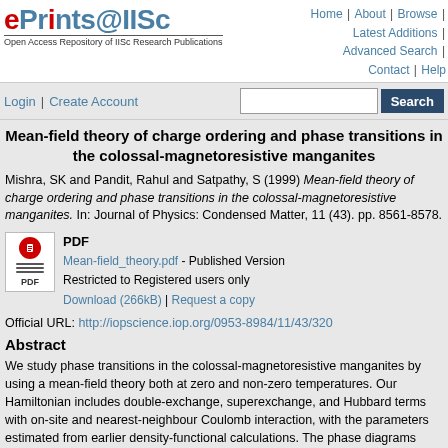ePrints@IISc — Open Access Repository of IISc Research Publications | Home | About | Browse | Latest Additions | Advanced Search | Contact | Help
Login | Create Account [Search box] [Search button]
Mean-field theory of charge ordering and phase transitions in the colossal-magnetoresistive manganites
Mishra, SK and Pandit, Rahul and Satpathy, S (1999) Mean-field theory of charge ordering and phase transitions in the colossal-magnetoresistive manganites. In: Journal of Physics: Condensed Matter, 11 (43). pp. 8561-8578.
[Figure (other): PDF file icon with red circle and horizontal lines, labeled PDF]
PDF
Mean-field_theory.pdf - Published Version
Restricted to Registered users only
Download (266kB) | Request a copy
Official URL: http://iopscience.iop.org/0953-8984/11/43/320
Abstract
We study phase transitions in the colossal-magnetoresistive manganites by using a mean-field theory both at zero and non-zero temperatures. Our Hamiltonian includes double-exchange, superexchange, and Hubbard terms with on-site and nearest-neighbour Coulomb interaction, with the parameters estimated from earlier density-functional calculations. The phase diagrams show magnetic and charge ordered (or charge disordered) phases as a result